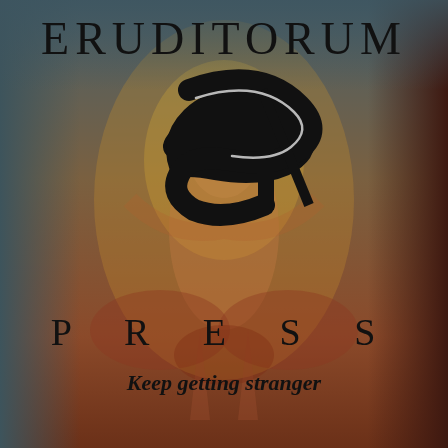[Figure (logo): Eruditorum Press logo page with William Blake-style illustration of a figure in the background. Dark teal gradient borders on left and right sides. Contains the text ERUDITORUM at top, a stylized EP monogram logo in the center, PRESS below the logo, and the tagline 'Keep getting stranger' near the bottom.]
ERUDITORUM
PRESS
Keep getting stranger